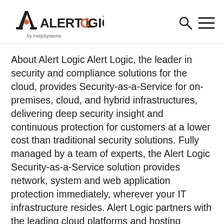Alert Logic by HelpSystems
About Alert Logic Alert Logic, the leader in security and compliance solutions for the cloud, provides Security-as-a-Service for on-premises, cloud, and hybrid infrastructures, delivering deep security insight and continuous protection for customers at a lower cost than traditional security solutions. Fully managed by a team of experts, the Alert Logic Security-as-a-Service solution provides network, system and web application protection immediately, wherever your IT infrastructure resides. Alert Logic partners with the leading cloud platforms and hosting providers to protect over 3,300 organizations worldwide. Built for cloud scale, the Alert Logic patented platform stores petabytes of data, and processes 1.3 billion events and identifies